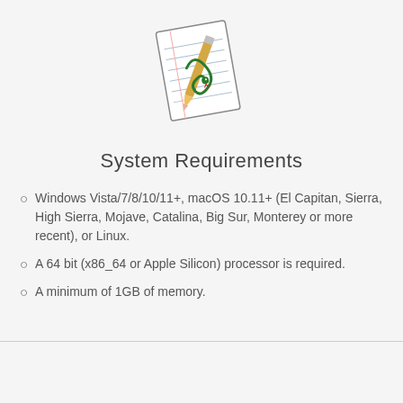[Figure (logo): Application icon showing a notepad with a pencil and decorative swirl/snake graphic, tilted at an angle]
System Requirements
Windows Vista/7/8/10/11+, macOS 10.11+ (El Capitan, Sierra, High Sierra, Mojave, Catalina, Big Sur, Monterey or more recent), or Linux.
A 64 bit (x86_64 or Apple Silicon) processor is required.
A minimum of 1GB of memory.